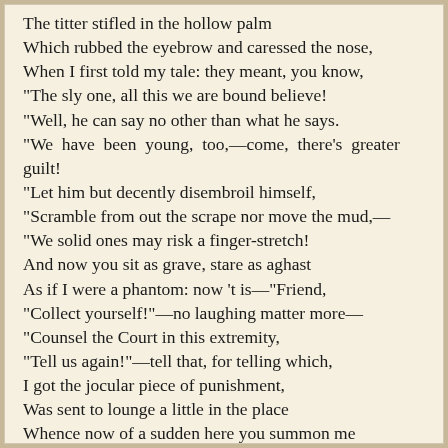The titter stifled in the hollow palm
Which rubbed the eyebrow and caressed the nose,
When I first told my tale: they meant, you know,
"The sly one, all this we are bound believe!
"Well, he can say no other than what he says.
"We have been young, too,—come, there's greater guilt!
"Let him but decently disembroil himself,
"Scramble from out the scrape nor move the mud,—
"We solid ones may risk a finger-stretch!
And now you sit as grave, stare as aghast
As if I were a phantom: now 't is—"Friend,
"Collect yourself!"—no laughing matter more—
"Counsel the Court in this extremity,
"Tell us again!"—tell that, for telling which,
I got the jocular piece of punishment,
Was sent to lounge a little in the place
Whence now of a sudden here you summon me
To take the intelligence from just—your lips!
You, Judge, Ton...